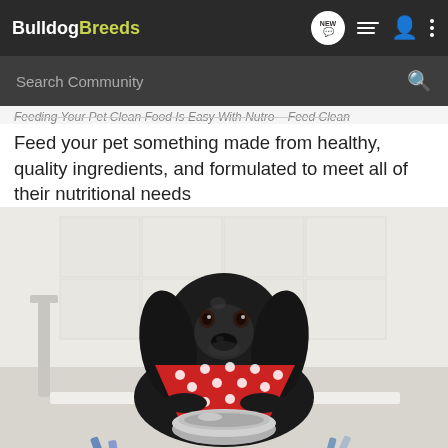BulldogBreeds
Search Community
Feeding Your Pet Clean Food Is Easy With Nutro – Feed Clean
Feed your pet something made from healthy, quality ingredients, and formulated to meet all of their nutritional needs
[Figure (photo): A black Cocker Spaniel dog wearing a red polka-dot bandana, sitting at a white table with a silver food bowl in front of it. The background is a bright, blurred white room.]